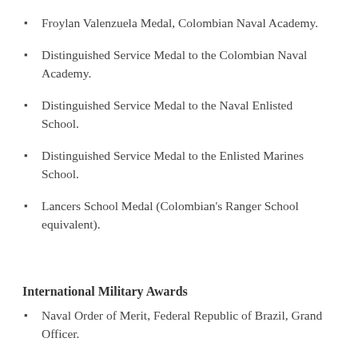Froylan Valenzuela Medal, Colombian Naval Academy.
Distinguished Service Medal to the Colombian Naval Academy.
Distinguished Service Medal to the Naval Enlisted School.
Distinguished Service Medal to the Enlisted Marines School.
Lancers School Medal (Colombian's Ranger School equivalent).
International Military Awards
Naval Order of Merit, Federal Republic of Brazil, Grand Officer.
Military Medal 'Minerva,' Chilean Naval War College.